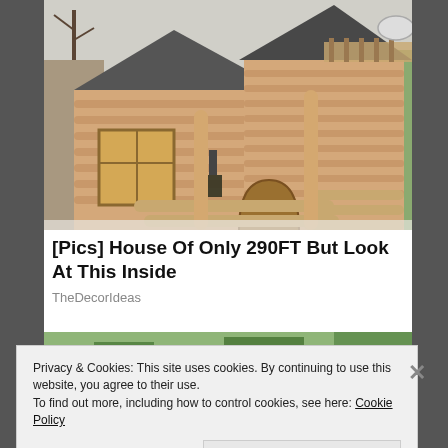[Figure (photo): Log cabin / wooden house exterior with a covered porch, lantern, and log railing. Winter scene with bare trees in background.]
[Pics] House Of Only 290FT But Look At This Inside
TheDecorIdeas
[Figure (photo): Partial view of a second image showing trees and greenery, partially obscured by cookie banner.]
Privacy & Cookies: This site uses cookies. By continuing to use this website, you agree to their use.
To find out more, including how to control cookies, see here: Cookie Policy
Close and accept